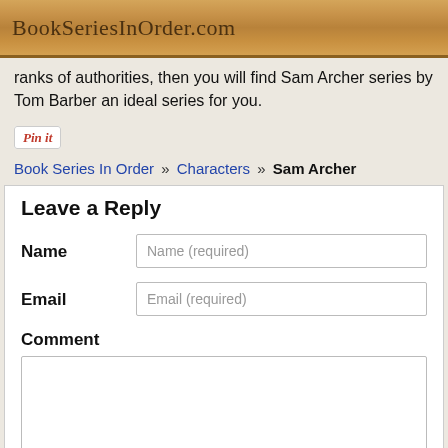BookSeriesInOrder.com
ranks of authorities, then you will find Sam Archer series by Tom Barber an ideal series for you.
[Figure (other): Pin it button]
Book Series In Order » Characters » Sam Archer
Leave a Reply
Name
Name (required)
Email
Email (required)
Comment